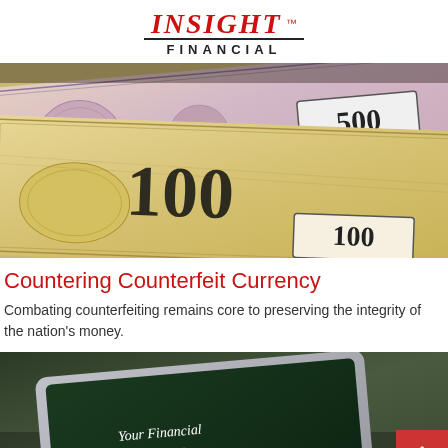INSIGHT FINANCIAL
[Figure (photo): Close-up photograph of currency bills showing 100 and 500 denomination notes with intricate engraving patterns, security features, and decorative designs. The bills are overlapping at an angle.]
Countering Counterfeit Currency
Combating counterfeiting remains core to preserving the integrity of the nation's money.
[Figure (photo): Photo of a tablet device displaying text 'Your Financial Formula' on a dark green background, with a red scroll-to-top button overlay in the bottom right corner.]